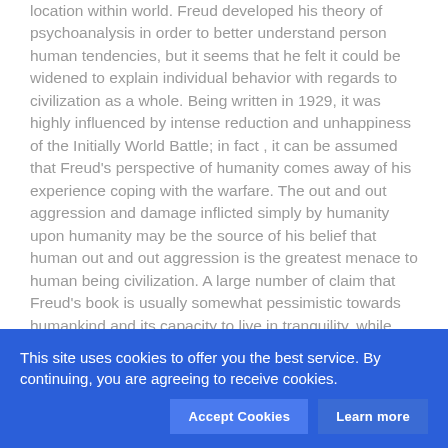location within world. Freud developed his theory of psychoanalysis in order to better understand person human tendencies, but it seems that he felt it could be widened to explain individual behavior with regards to civilization as a whole. Being written in 1929, it was highly influenced by intense reduction and unhappiness of the Initially World Battle; in fact , it can be assumed that Freud's perspective of humanity comes away of his experience coping with the warfare. The out and out aggression and damage inflicted simply by humanity upon humanity may be the source of his belief that human out and out aggression is the greatest menace to human being civilization. A large number of claim that Freud's book is usually somewhat pessimistic towards humankind and its capacity to live in tranquility, while others claim that it is just an attempt to explain the discontentment that individual civilization has brought to individuals inside that world.
Basically it's a work of following its obligations...
This site uses cookies to offer you the best service. By continuing, you are agreeing to receive cookies.